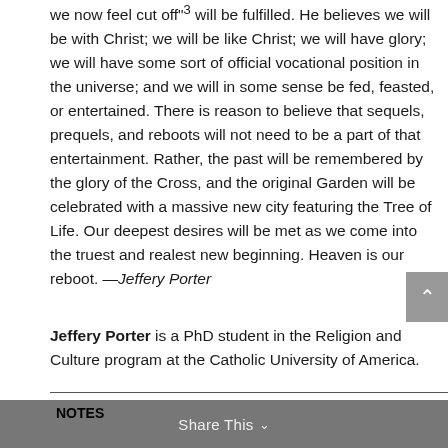we now feel cut off"3 will be fulfilled. He believes we will be with Christ; we will be like Christ; we will have glory; we will have some sort of official vocational position in the universe; and we will in some sense be fed, feasted, or entertained. There is reason to believe that sequels, prequels, and reboots will not need to be a part of that entertainment. Rather, the past will be remembered by the glory of the Cross, and the original Garden will be celebrated with a massive new city featuring the Tree of Life. Our deepest desires will be met as we come into the truest and realest new beginning. Heaven is our reboot. —Jeffery Porter
Jeffery Porter is a PhD student in the Religion and Culture program at the Catholic University of America.
NOTES